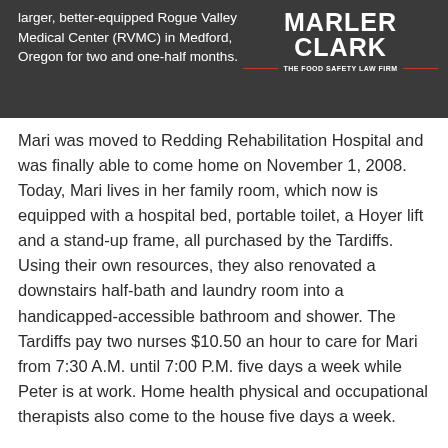larger, better-equipped Rogue Valley Medical Center (RVMC) in Medford, Oregon for two and one-half months.
[Figure (logo): Marler Clark – The Food Safety Law Firm logo, white text on dark grey background with red rule lines]
Mari was moved to Redding Rehabilitation Hospital and was finally able to come home on November 1, 2008. Today, Mari lives in her family room, which now is equipped with a hospital bed, portable toilet, a Hoyer lift and a stand-up frame, all purchased by the Tardiffs. Using their own resources, they also renovated a downstairs half-bath and laundry room into a handicapped-accessible bathroom and shower. The Tardiffs pay two nurses $10.50 an hour to care for Mari from 7:30 A.M. until 7:00 P.M. five days a week while Peter is at work. Home health physical and occupational therapists also come to the house five days a week.